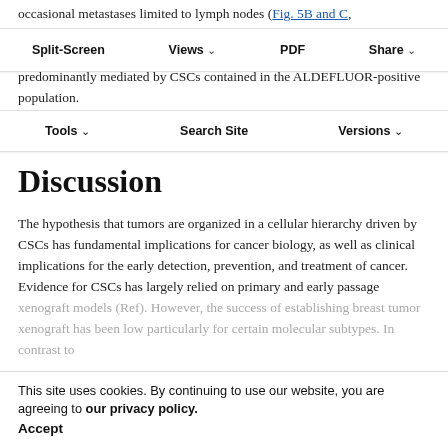occasional metastases limited to lymph nodes (Fig. 5B and C, Supplementary Fig. S10). Histological sections confirmed the presence of metastases at these sites (Fig. 5C). Thus, the metastatic capacity of BCLs is predominantly mediated by CSCs contained in the ALDEFLUOR-positive population.
Split-Screen | Views | PDF | Share | Tools | Search Site | Versions
Discussion
The hypothesis that tumors are organized in a cellular hierarchy driven by CSCs has fundamental implications for cancer biology, as well as clinical implications for the early detection, prevention, and treatment of cancer. Evidence for CSCs has largely relied on primary and early passage xenograft models (Ref 13). However, the success of establishing breast tumor xenograft has been low particularly for certain molecular subtypes. In contrast to
This site uses cookies. By continuing to use our website, you are agreeing to our privacy policy.
Accept